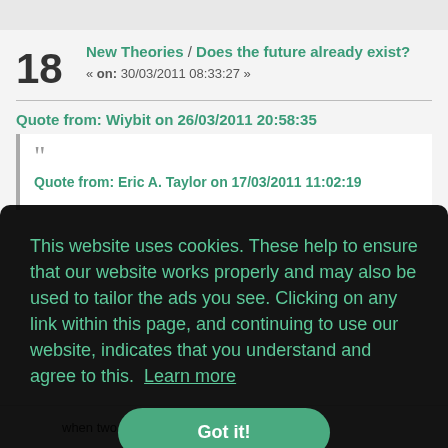18
New Theories / Does the future already exist?
« on: 30/03/2011 08:33:27 »
Quote from: Wiybit on 26/03/2011 20:58:35
Quote from: Eric A. Taylor on 17/03/2011 11:02:19
This website uses cookies. These help to ensure that our website works properly and may also be used to tailor the ads you see. Clicking on any link within this page, and continuing to use our website, indicates that you understand and agree to this. Learn more
Got it!
when two stationary observers will say they